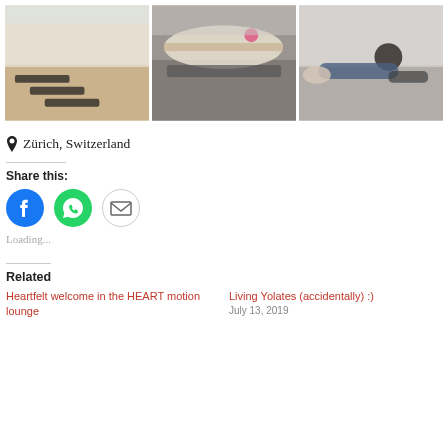[Figure (photo): Three yoga studio photos side by side: left shows yoga mats on wooden floor in a bright studio, center shows yoga props including a bolster and mat on wooden floor, right shows a person lying on their back doing a yoga pose on a mat.]
📍 Zürich, Switzerland
Share this:
[Figure (infographic): Three social share icon buttons: Facebook (blue circle with f icon), WhatsApp (green circle with phone icon), Email (light circle with envelope icon)]
Loading...
Related
Heartfelt welcome in the HEART motion lounge
Living Yolates (accidentally) :)
July 13, 2019